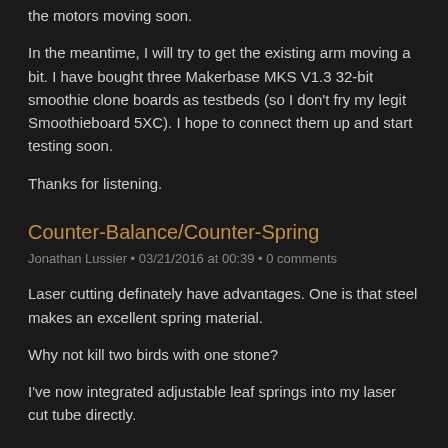the motors moving soon.
In the meantime, I will try to get the existing arm moving a bit. I have bought three Makerbase MKS V1.3 32-bit smoothie clone boards as testbeds (so I don't fry my legit Smoothieboard 5XC). I hope to connect them up and start testing soon.
Thanks for listening.
Counter-Balance/Counter-Spring
Jonathan Lussier • 03/21/2016 at 00:39 • 0 comments
Laser cutting definately have advantages. One is that steel makes an excellent spring material.
Why not kill two birds with one stone?
I've now integrated adjustable leaf springs into my laser cut tube directly.